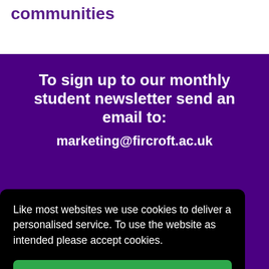communities
To sign up to our monthly student newsletter send an email to:
marketing@fircroft.ac.uk
Like most websites we use cookies to deliver a personalised service. To use the website as intended please accept cookies.
Accept Cookies